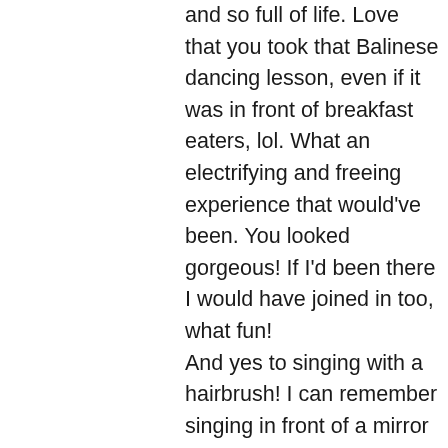and so full of life. Love that you took that Balinese dancing lesson, even if it was in front of breakfast eaters, lol. What an electrifying and freeing experience that would've been. You looked gorgeous! If I'd been there I would have joined in too, what fun!
And yes to singing with a hairbrush! I can remember singing in front of a mirror with my neighbour when we were really young. Do you know ABBA? I always used to pretend to be Freda, the dark haired one lol.
I loved this post. So much fun, colour and culture. You have an amazing gift. Thank you for taking me back to Bali on this cool Thursday morning in Melbourne. Big hugs and love to you across the miles xxx 💕